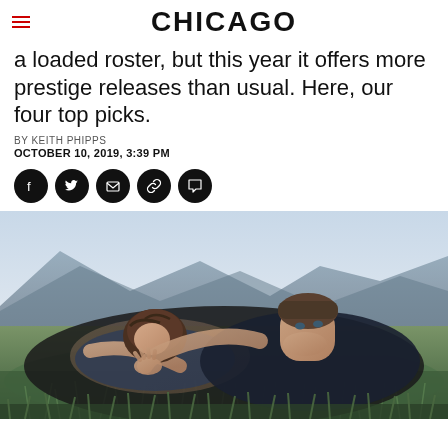CHICAGO
a loaded roster, but this year it offers more prestige releases than usual. Here, our four top picks.
BY KEITH PHIPPS
OCTOBER 10, 2019, 3:39 PM
[Figure (other): Social sharing icons: Facebook, Twitter, Email, Link, Comment]
[Figure (photo): A man and woman lying in a grassy mountain meadow. The woman rests her head on the man's chest; he leans in close. Mountains visible in background.]